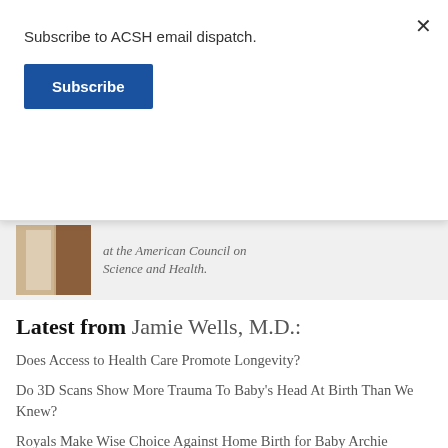Subscribe to ACSH email dispatch.
Subscribe
at the American Council on Science and Health.
Latest from Jamie Wells, M.D.:
Does Access to Health Care Promote Longevity?
Do 3D Scans Show More Trauma To Baby's Head At Birth Than We Knew?
Royals Make Wise Choice Against Home Birth for Baby Archie
U.S. Births Hit Lowest Number in 32 Years
New Machine Learning Smartphone Platform Tackles Detecting Middle Ear Fluid, Useful?